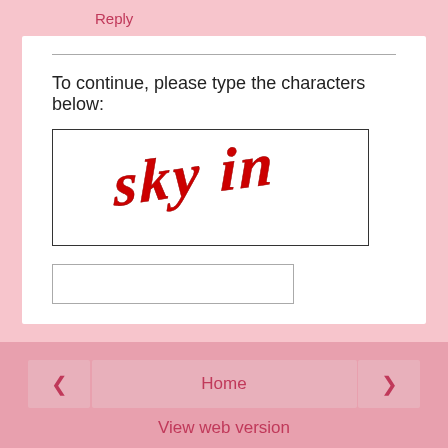Reply
To continue, please type the characters below:
[Figure (other): CAPTCHA image showing stylized red cursive text that reads 'skyin' in decorative lettering]
Home
View web version
Powered by Blogger.